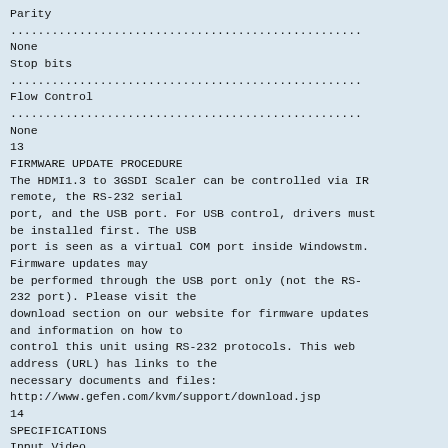Parity
...................................................
None
Stop bits
...................................................
Flow Control
...................................................
None
13
FIRMWARE UPDATE PROCEDURE
The HDMI1.3 to 3GSDI Scaler can be controlled via IR remote, the RS-232 serial port, and the USB port. For USB control, drivers must be installed first. The USB port is seen as a virtual COM port inside Windowstm. Firmware updates may be performed through the USB port only (not the RS-232 port). Please visit the download section on our website for firmware updates and information on how to control this unit using RS-232 protocols. This web address (URL) has links to the necessary documents and files:
http://www.gefen.com/kvm/support/download.jsp
14
SPECIFICATIONS
Input Video
Bandwidth...............................................MHz
Output Video
Bandwidth............................................... x 3.0 Gbps